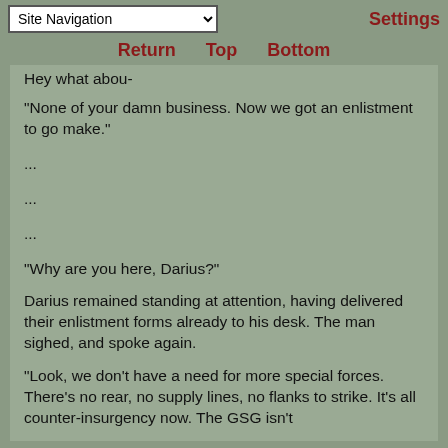Site Navigation | Settings
Return   Top   Bottom
Hey what abou-
"None of your damn business. Now we got an enlistment to go make."
...
...
...
"Why are you here, Darius?"
Darius remained standing at attention, having delivered their enlistment forms already to his desk. The man sighed, and spoke again.
"Look, we don't have a need for more special forces. There's no rear, no supply lines, no flanks to strike. It's all counter-insurgency now. The GSG isn't